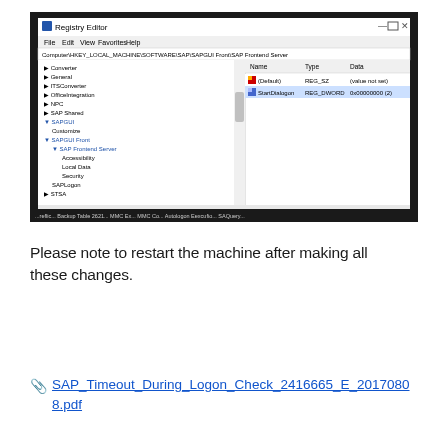[Figure (screenshot): Windows Registry Editor screenshot showing the SAPGUI registry key tree on the left pane with entries like Converter, General, ITSConverter, OfficeIntegration, NPC, SAP Shared, SAPGUI, Customize, SAPGUI Front, SAP Frontend Server, Accessibility, Local Data, Security, SAPLogon, StdA, VMware Inc, SYSTEM, AdministrationData, ControlSet001, ControlSet002, CurrentControlSet. Right pane shows Name, Type, Data columns with entries including (Default) REG_SZ and StartDialogon REG_DWORD 0x00000000 (2). Address bar shows computer HKEY_LOCAL_MACHINE path.]
Please note to restart the machine after making all these changes.
SAP_Timeout_During_Logon_Check_2416665_E_20170808.pdf